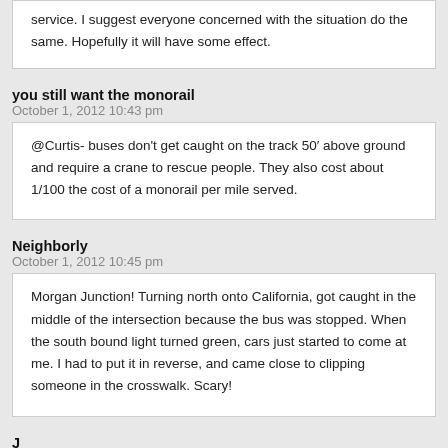service. I suggest everyone concerned with the situation do the same. Hopefully it will have some effect.
you still want the monorail
October 1, 2012 10:43 pm
@Curtis- buses don't get caught on the track 50' above ground and require a crane to rescue people. They also cost about 1/100 the cost of a monorail per mile served.
Neighborly
October 1, 2012 10:45 pm
Morgan Junction! Turning north onto California, got caught in the middle of the intersection because the bus was stopped. When the south bound light turned green, cars just started to come at me. I had to put it in reverse, and came close to clipping someone in the crosswalk. Scary!
J